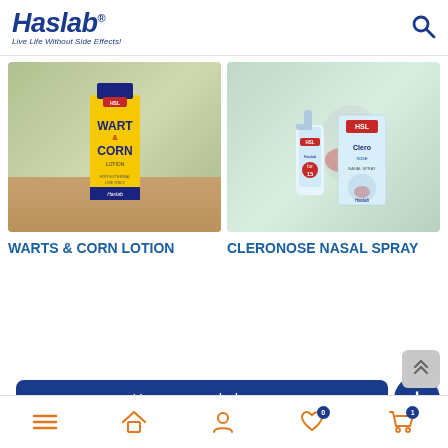[Figure (logo): Haslab logo with tagline 'Live Life Without Side Effects!']
[Figure (photo): Warts & Corn Lotion product photo - yellow and navy blue bottle on burlap background]
[Figure (photo): Cleronose Nasal Spray product photo - spray bottle and box on light blue background]
WARTS & CORN LOTION
CLERONOSE NASAL SPRAY
How may we help you
[Figure (other): Bottom navigation bar with menu, home, user, wishlist (badge 0), and cart (badge 1) icons]